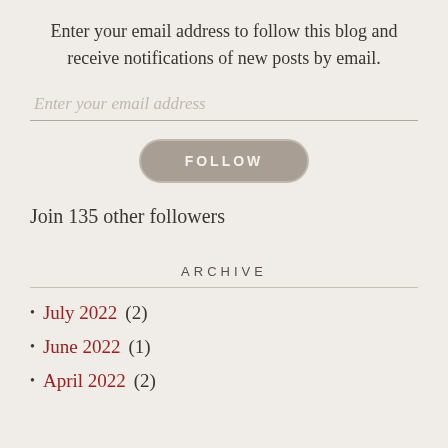Enter your email address to follow this blog and receive notifications of new posts by email.
Enter your email address
FOLLOW
Join 135 other followers
ARCHIVE
July 2022 (2)
June 2022 (1)
April 2022 (2)